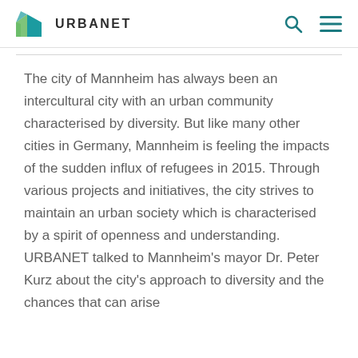[Figure (logo): URBANET logo: green and teal house/polygon icon with the text URBANET in bold dark grey letters]
The city of Mannheim has always been an intercultural city with an urban community characterised by diversity. But like many other cities in Germany, Mannheim is feeling the impacts of the sudden influx of refugees in 2015. Through various projects and initiatives, the city strives to maintain an urban society which is characterised by a spirit of openness and understanding. URBANET talked to Mannheim's mayor Dr. Peter Kurz about the city's approach to diversity and the chances that can arise